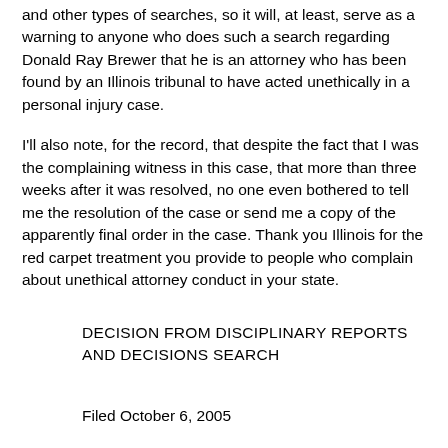and other types of searches, so it will, at least, serve as a warning to anyone who does such a search regarding Donald Ray Brewer that he is an attorney who has been found by an Illinois tribunal to have acted unethically in a personal injury case.
I'll also note, for the record, that despite the fact that I was the complaining witness in this case, that more than three weeks after it was resolved, no one even bothered to tell me the resolution of the case or send me a copy of the apparently final order in the case. Thank you Illinois for the red carpet treatment you provide to people who complain about unethical attorney conduct in your state.
DECISION FROM DISCIPLINARY REPORTS AND DECISIONS SEARCH
Filed October 6, 2005
In re Donald Ray Brewer